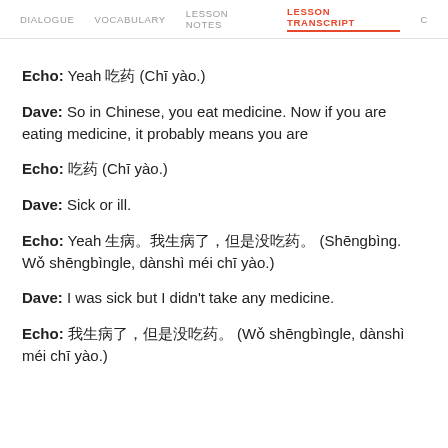DIALOGUE   VOCABULARY   LESSON NOTES   LESSON TRANSCRIPT   C
Echo: Yeah 吃药 (Chī yào.)
Dave: So in Chinese, you eat medicine. Now if you are eating medicine, it probably means you are
Echo: 吃药 (Chī yào.)
Dave: Sick or ill.
Echo: Yeah 生病。我生病了，但是没吃药。 (Shēngbìng. Wǒ shēngbìngle, dànshì méi chī yào.)
Dave: I was sick but I didn't take any medicine.
Echo: 我生病了，但是没吃药。 (Wǒ shēngbìngle, dànshì méi chī yào.)